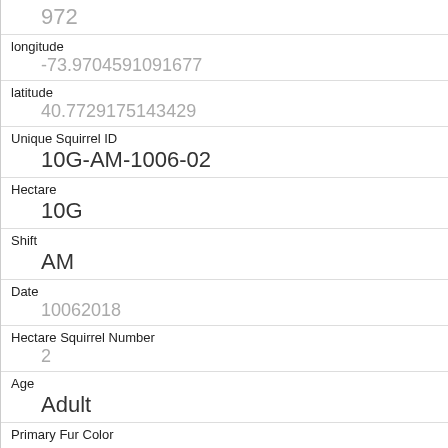| Field | Value |
| --- | --- |
| (top value) | 972 |
| longitude | -73.9704591091677 |
| latitude | 40.7729175143429 |
| Unique Squirrel ID | 10G-AM-1006-02 |
| Hectare | 10G |
| Shift | AM |
| Date | 10062018 |
| Hectare Squirrel Number | 2 |
| Age | Adult |
| Primary Fur Color | Gray |
| Highlight Fur Color | Cinnamon |